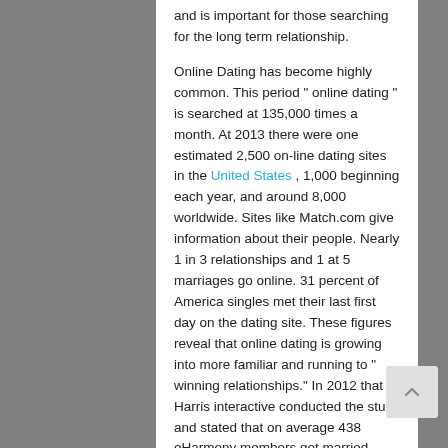and is important for those searching for the long term relationship.
Online Dating has become highly common. This period " online dating " is searched at 135,000 times a month. At 2013 there were one estimated 2,500 on-line dating sites in the United States , 1,000 beginning each year, and around 8,000 worldwide. Sites like Match.com give information about their people. Nearly 1 in 3 relationships and 1 at 5 marriages go online. 31 percent of America singles met their last first day on the dating site. These figures reveal that online dating is growing into more familiar and running to " winning relationships." In 2012 that Harris interactive conducted the study and stated that on average 438 eHarmony members get married every day.
To see married people starting frequenting online dating websites. I immediately know after Googling "married people on-line dating" that married people using on-line dating services is not just the